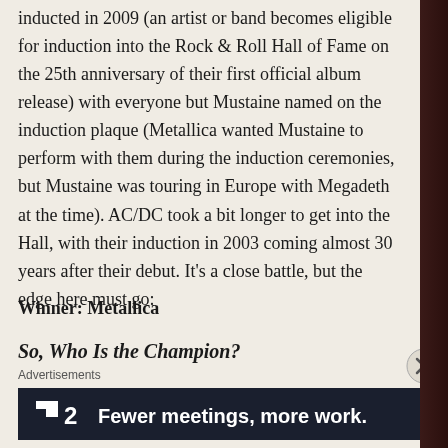inducted in 2009 (an artist or band becomes eligible for induction into the Rock & Roll Hall of Fame on the 25th anniversary of their first official album release) with everyone but Mustaine named on the induction plaque (Metallica wanted Mustaine to perform with them during the induction ceremonies, but Mustaine was touring in Europe with Megadeth at the time). AC/DC took a bit longer to get into the Hall, with their induction in 2003 coming almost 30 years after their debut. It's a close battle, but the edge here must go:
Winner: Metallica
So, Who Is the Champion?
Advertisements
[Figure (other): Dark advertisement banner with logo showing a square icon and the number 2, with text 'Fewer meetings, more work.']